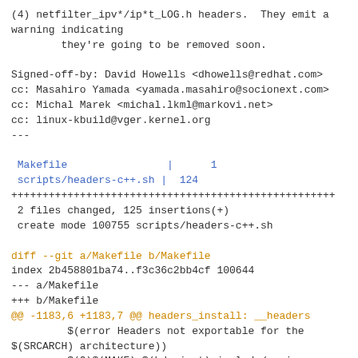(4) netfilter_ipv*/ip*t_LOG.h headers.  They emit a warning indicating
        they're going to be removed soon.

Signed-off-by: David Howells <dhowells@redhat.com>
cc: Masahiro Yamada <yamada.masahiro@socionext.com>
cc: Michal Marek <michal.lkml@markovi.net>
cc: linux-kbuild@vger.kernel.org
---

 Makefile                | 1
 scripts/headers-c++.sh | 124
++++++++++++++++++++++++++++++++++++++++++++++++++
 2 files changed, 125 insertions(+)
 create mode 100755 scripts/headers-c++.sh

diff --git a/Makefile b/Makefile
index 2b458801ba74..f3c36c2bb4cf 100644
--- a/Makefile
+++ b/Makefile
@@ -1183,6 +1183,7 @@ headers_install: __headers
         $(error Headers not exportable for the $(SRCARCH) architecture))
         $(Q)$(MAKE) $(hdr-inst)=include/uapi dst=include
         $(Q)$(MAKE) $(hdr-inst)=arch/$(SRCARCH)/include/uapi $(hdr-dst)
+        $(Q)$(CONFIG_SHELL) $(srctree)/scripts/headers-c++.sh check